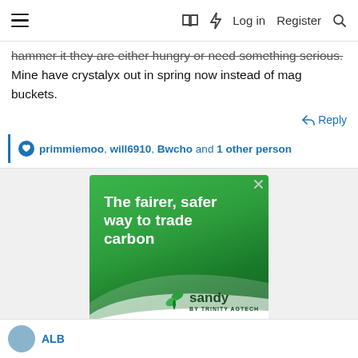≡  [book icon] [lightning icon] Log in  Register [search icon]
hammer it they are either hungry or need something serious. Mine have crystalyx out in spring now instead of mag buckets.
Reply
primmiemoo, will6910, Bwcho and 1 other person
[Figure (infographic): Green advertisement for Sandy by Trinity AgTech with text 'The fairer, safer way to trade carbon' on a green gradient background with Sandy logo and leaf icon]
ALB